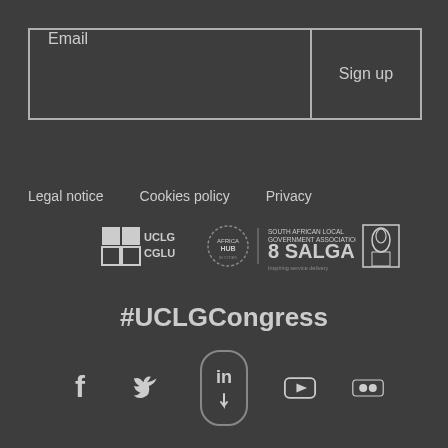[Figure (other): Email input field with Sign up button, bordered box]
Legal notice   Cookies policy   Privacy
[Figure (logo): Partner logos: UCLG CGLU, Africa Hub, SALGA, Cape Town]
#UCLGCongress
[Figure (other): Social media icons: Facebook, Twitter, LinkedIn (highlighted pill), YouTube, Flickr]